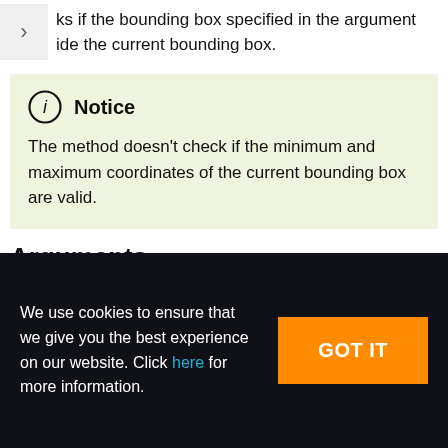ks if the bounding box specified in the argument ide the current bounding box.
Notice
The method doesn't check if the minimum and maximum coordinates of the current bounding box are valid.
Arguments
We use cookies to ensure that we give you the best experience on our website. Click here for more information.